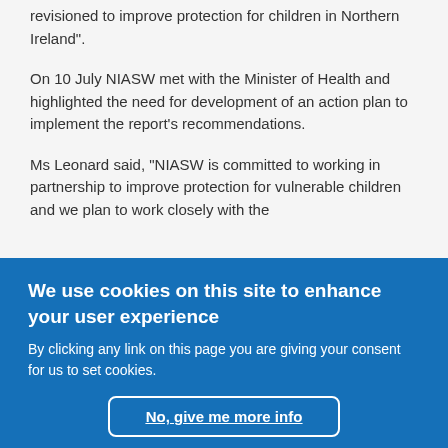revisioned to improve protection for children in Northern Ireland".
On 10 July NIASW met with the Minister of Health and highlighted the need for development of an action plan to implement the report’s recommendations.
Ms Leonard said, “NIASW is committed to working in partnership to improve protection for vulnerable children and we plan to work closely with the Safeguarding Board in Northern Ireland to...
We use cookies on this site to enhance your user experience
By clicking any link on this page you are giving your consent for us to set cookies.
No, give me more info